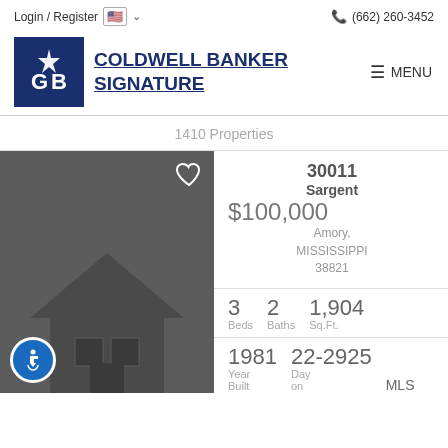Login / Register  🇺🇸 ∨    📞 (662) 260-3452
[Figure (logo): Coldwell Banker logo - blue square with CB monogram and star]
COLDWELL BANKER SIGNATURE
MENU
1410 Properties
[Figure (photo): Dark gray placeholder image of a house silhouette]
30011 Sargent $100,000 Amory, MISSISSIPPI 38821
3 Beds  2 Baths  1,904 Sq.Ft.
1981 Year Built  22-2925 Day on  MLS